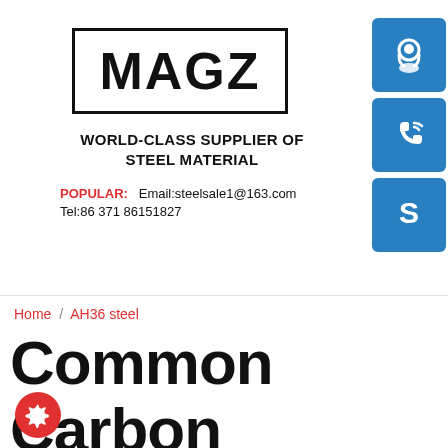[Figure (logo): MAGZ logo in bold black text inside a rectangular border]
WORLD-CLASS SUPPLIER OF STEEL MATERIAL
POPULAR: Email:steelsale1@163.com Tel:86 371 86151827
[Figure (illustration): Three blue square icons: headset/support, phone, and Skype]
Home / AH36 steel
Common Carbon Hot Rolled Welded Steel